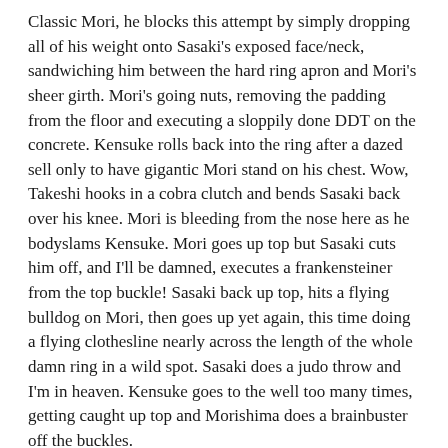Classic Mori, he blocks this attempt by simply dropping all of his weight onto Sasaki's exposed face/neck, sandwiching him between the hard ring apron and Mori's sheer girth. Mori's going nuts, removing the padding from the floor and executing a sloppily done DDT on the concrete. Kensuke rolls back into the ring after a dazed sell only to have gigantic Mori stand on his chest. Wow, Takeshi hooks in a cobra clutch and bends Sasaki back over his knee. Mori is bleeding from the nose here as he bodyslams Kensuke. Mori goes up top but Sasaki cuts him off, and I'll be damned, executes a frankensteiner from the top buckle! Sasaki back up top, hits a flying bulldog on Mori, then goes up yet again, this time doing a flying clothesline nearly across the length of the whole damn ring in a wild spot. Sasaki does a judo throw and I'm in heaven. Kensuke goes to the well too many times, getting caught up top and Morishima does a brainbuster off the buckles.
Mori shakes the hair from his eyes and runs, kicking Sasaki right in the face, Kensuke answers back with a stiff lariat, but Mori just scoops him up and dumps him hard with a ura-nage. Mori going for his backdrop suplex for the first time but Sasaki gets the ropes. Mori with a hard bodyslam, goes up top, presumably for a moonsault, but Kensuke hops up and hits a back suplex off the